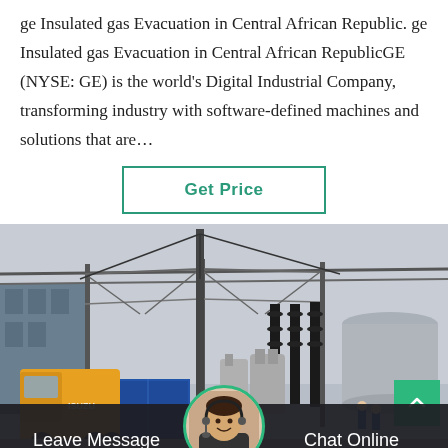ge Insulated gas Evacuation in Central African Republic. ge Insulated gas Evacuation in Central African RepublicGE (NYSE: GE) is the world's Digital Industrial Company, transforming industry with software-defined machines and solutions that are…
Get Price
[Figure (photo): Industrial electrical substation scene with a yellow Isuzu truck, blue containers, metal gantry structures with high-voltage cables, tall dark insulators, workers in blue uniforms, cooling tower in background, overcast sky.]
Leave Message
Chat Online